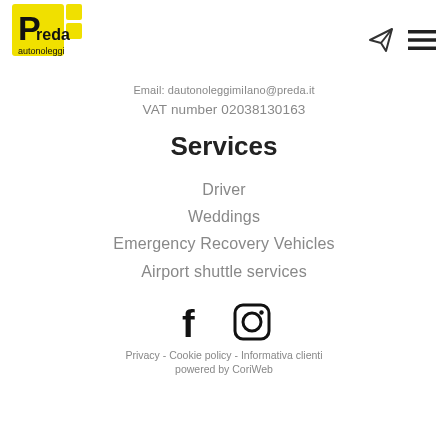[Figure (logo): Preda autonoleggi logo – yellow square background with black P and text 'Preda autonoleggi']
Email: dautonoleggimiIano@preda.it
VAT number 02038130163
Services
Driver
Weddings
Emergency Recovery Vehicles
Airport shuttle services
[Figure (illustration): Facebook and Instagram social media icons]
Privacy - Cookie policy - Informativa clienti
powered by CoriWeb